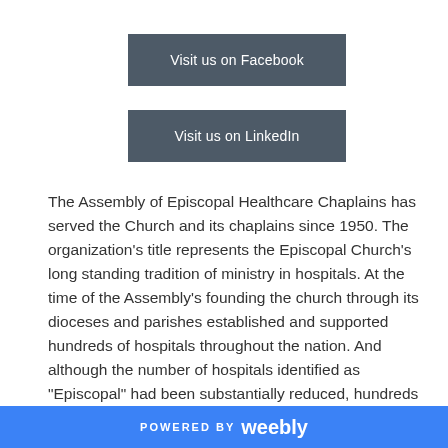Visit us on Facebook
Visit us on LinkedIn
The Assembly of Episcopal Healthcare Chaplains has served the Church and its chaplains since 1950. The organization's title represents the Episcopal Church's long standing tradition of ministry in hospitals. At the time of the Assembly's founding the church through its dioceses and parishes established and supported hundreds of hospitals throughout the nation. And although the number of hospitals identified as "Episcopal" had been substantially reduced, hundreds of Episcopal chaplains and other pastoral ministers continue to represent the Church in its ministry to those who
POWERED BY weebly